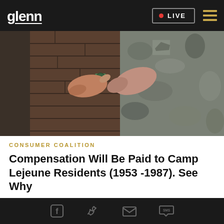glenn  LIVE
[Figure (photo): Military personnel in camouflage uniform turning a faucet/water valve on a brick wall, suggesting water contamination context]
CONSUMER COALITION
Compensation Will Be Paid to Camp Lejeune Residents (1953 -1987). See Why
[Figure (photo): Partial photo of a person's face, partially visible at bottom of page]
Social share icons: Facebook, Twitter, Email, SMS